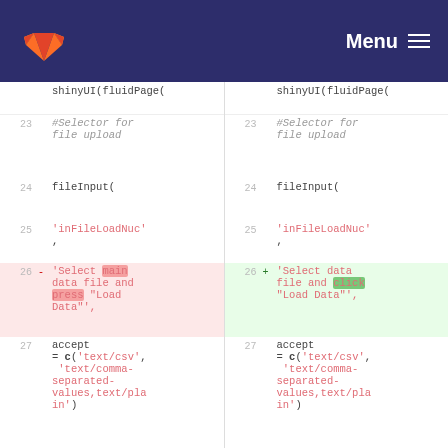GitLab logo / Menu
[Figure (screenshot): Side-by-side code diff showing R Shiny code. Lines 23-27 visible. Left side shows deleted line 26 with 'Select main data file and press "Load Data",' highlighted in red. Right side shows added line 26 with 'Select data file and click "Load Data",' highlighted in green. Both sides show identical code for lines 23-25 and 27 with shinyUI(fluidPage(, #Selector for file upload comments, fileInput(, 'inFileLoadNuc', and accept = c('text/csv', 'text/comma-separated-values,text/plain').]